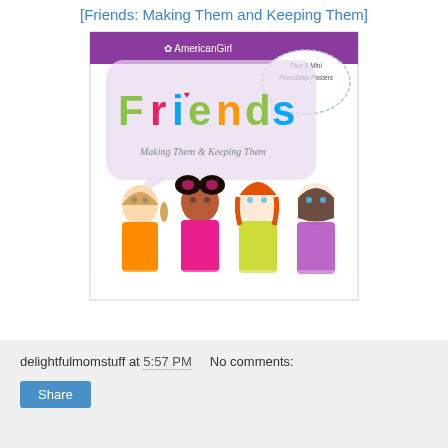[Friends: Making Them and Keeping Them]
[Figure (illustration): Book cover of 'Friends: Making Them & Keeping Them' by American Girl, showing four illustrated girls of different ethnicities and a speech bubble graphic with colorful lettering. A badge reads 'Plus 5 Mini Friendship Posters'.]
delightfulmomstuff at 5:57 PM    No comments:
Share